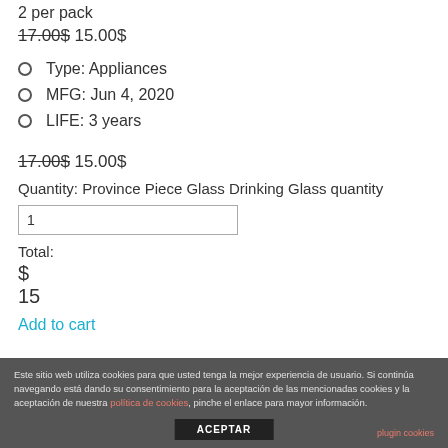2 per pack
17.00$ 15.00$
Type: Appliances
MFG: Jun 4, 2020
LIFE: 3 years
17.00$ 15.00$
Quantity: Province Piece Glass Drinking Glass quantity
1
Total:
$
15
Add to cart
Este sitio web utiliza cookies para que usted tenga la mejor experiencia de usuario. Si continúa navegando está dando su consentimiento para la aceptación de las mencionadas cookies y la aceptación de nuestra política de cookies, pinche el enlace para mayor información.
ACEPTAR
plugin cookies